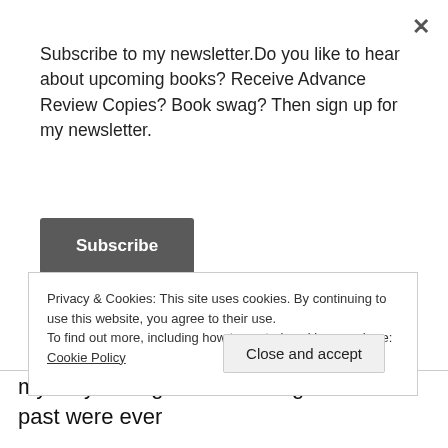Subscribe to my newsletter.Do you like to hear about upcoming books? Receive Advance Review Copies? Book swag? Then sign up for my newsletter.
Subscribe
plan. There’s just too much to fix! Her first visit to the house sees her get the fright of her life when she sees a face at the window. However, hunky cop Alain is on hand to help a damsel in distress. Jessica, not long out of an unhappy and grief stricken marriage is instantly attracted to Alain who himself has suffered grief at the loss of his wife.
Privacy & Cookies: This site uses cookies. By continuing to use this website, you agree to their use.
To find out more, including how to control cookies, see here: Cookie Policy
Close and accept
mystery throughout and the ghosts of the past were ever